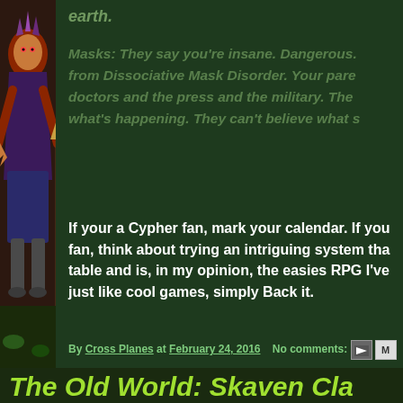earth.
Masks: They say you're insane. Dangerous. from Dissociative Mask Disorder. Your parents doctors and the press and the military. They what's happening. They can't believe what s
If your a Cypher fan, mark your calendar. If you fan, think about trying an intriguing system that table and is, in my opinion, the easies RPG I've just like cool games, simply Back it.
By Cross Planes at February 24, 2016  No comments:
Labels: Crowdfunding, Cypher System
The Old World: Skaven Cla